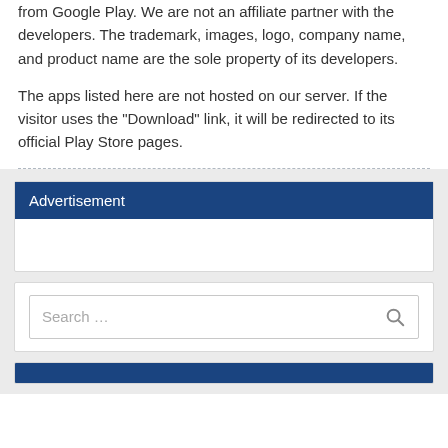from Google Play. We are not an affiliate partner with the developers. The trademark, images, logo, company name, and product name are the sole property of its developers.
The apps listed here are not hosted on our server. If the visitor uses the "Download" link, it will be redirected to its official Play Store pages.
Advertisement
Search …